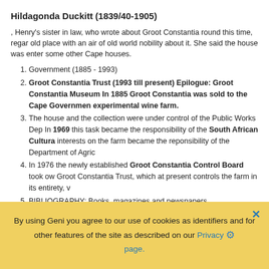Hildagonda Duckitt (1839/40-1905)
, Henry's sister in law, who wrote about Groot Constantia round this time, regar old place with an air of old world nobility about it. She said the house was enter some other Cape houses.
Government (1885 - 1993)
Groot Constantia Trust (1993 till present) Epilogue: Groot Constantia Museum In 1885 Groot Constantia was sold to the Cape Government experimental wine farm.
The house and the collection were under control of the Public Works Dep In 1969 this task became the responsibility of the South African Cultura interests on the farm became the reponsibility of the Department of Agric
In 1976 the newly established Groot Constantia Control Board took ow Groot Constantia Trust, which at present controls the farm in its entirety, v
BIBLIOGRAPHY: Books, magazines and newspapers http://www.grootco constantia-1685...
By using Geni you agree to our use of cookies as identifiers and for other features of the site as described on our Privacy page.